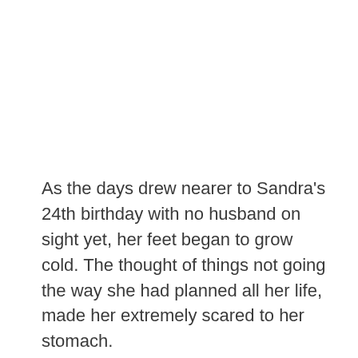As the days drew nearer to Sandra's 24th birthday with no husband on sight yet, her feet began to grow cold. The thought of things not going the way she had planned all her life, made her extremely scared to her stomach.
For unknown reasons, Sandra was under so much pressure that no one had put on her.